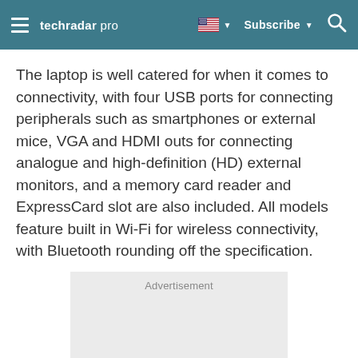techradar pro | Subscribe
The laptop is well catered for when it comes to connectivity, with four USB ports for connecting peripherals such as smartphones or external mice, VGA and HDMI outs for connecting analogue and high-definition (HD) external monitors, and a memory card reader and ExpressCard slot are also included. All models feature built in Wi-Fi for wireless connectivity, with Bluetooth rounding off the specification.
Advertisement